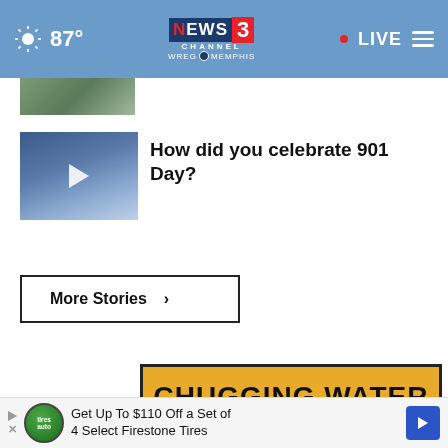87° NEWS CHANNEL 3 WREG MEMPHIS • LIVE
[Figure (screenshot): Partially visible thumbnail of a news story at top]
[Figure (screenshot): Video thumbnail of crowd at 901 Day event with play button overlay]
How did you celebrate 901 Day?
More Stories ›
[Figure (screenshot): Yellow advertisement video banner showing text CHUGGING WATER with a cup icon and close button]
Get Up To $110 Off a Set of 4 Select Firestone Tires